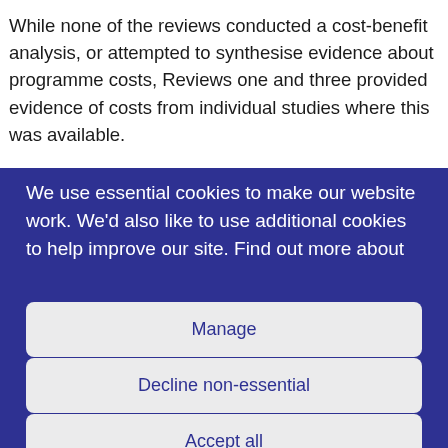While none of the reviews conducted a cost-benefit analysis, or attempted to synthesise evidence about programme costs, Reviews one and three provided evidence of costs from individual studies where this was available.
We use essential cookies to make our website work. We'd also like to use additional cookies to help improve our site. Find out more about
Manage
Decline non-essential
Accept all